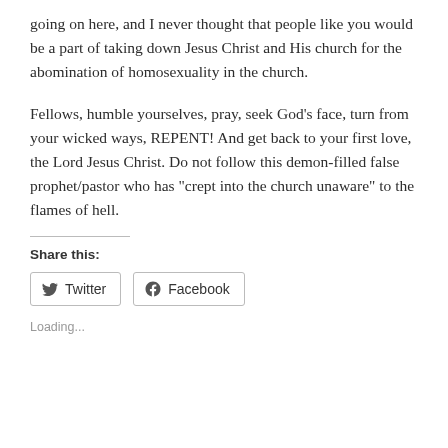going on here, and I never thought that people like you would be a part of taking down Jesus Christ and His church for the abomination of homosexuality in the church.
Fellows, humble yourselves, pray, seek God’s face, turn from your wicked ways, REPENT! And get back to your first love, the Lord Jesus Christ. Do not follow this demon-filled false prophet/pastor who has “crept into the church unaware” to the flames of hell.
Share this:
Twitter  Facebook
Loading...